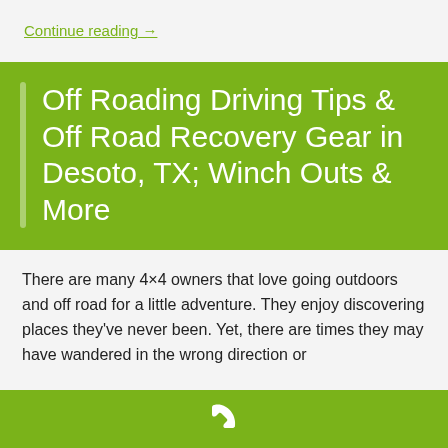Continue reading →
Off Roading Driving Tips & Off Road Recovery Gear in Desoto, TX; Winch Outs & More
There are many 4×4 owners that love going outdoors and off road for a little adventure. They enjoy discovering places they've never been. Yet, there are times they may have wandered in the wrong direction or
[Figure (illustration): White telephone/phone icon on olive green bar at page bottom]